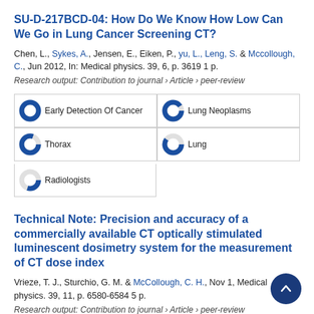SU-D-217BCD-04: How Do We Know How Low Can We Go in Lung Cancer Screening CT?
Chen, L., Sykes, A., Jensen, E., Eiken, P., yu, L., Leng, S. & Mccollough, C., Jun 2012, In: Medical physics. 39, 6, p. 3619 1 p.
Research output: Contribution to journal › Article › peer-review
[Figure (infographic): Donut badge icons with labels: Early Detection Of Cancer (100%), Lung Neoplasms (~90%), Thorax (~80%), Lung (~60%), Radiologists (~30%)]
Technical Note: Precision and accuracy of a commercially available CT optically stimulated luminescent dosimetry system for the measurement of CT dose index
Vrieze, T. J., Sturchio, G. M. & McCollough, C. H., Nov 1, Medical physics. 39, 11, p. 6580-6584 5 p.
Research output: Contribution to journal › Article › peer-review